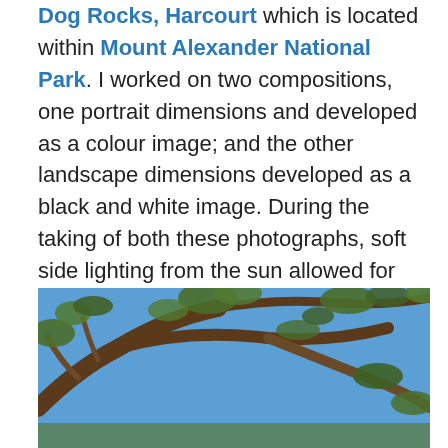Dog Rocks, Harcourt which is located within Mount Alexander National Park.  I worked on two compositions, one portrait dimensions and developed as a colour image; and the other landscape dimensions developed as a black and white image.  During the taking of both these photographs, soft side lighting from the sun allowed for great highlights, deep shadows thus overall good contrast.  This was a short trip for us and I was happy with the photographs taken during the morning.  Then back home to recover from the 4am early rise for us oldies.  Just great to be able to get out-and-about once again!
[Figure (photo): Photograph looking up into eucalyptus tree branches against a blue sky, showing gum tree branches and foliage.]